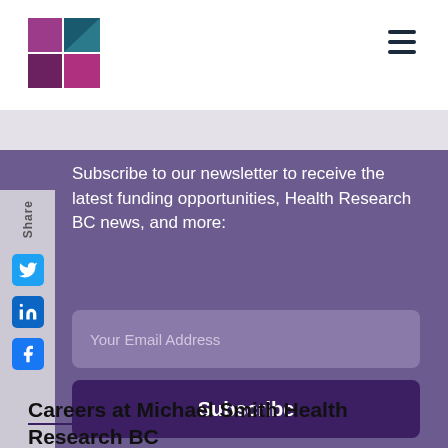Health Research BC logo and navigation menu
Subscribe to our newsletter to receive the latest funding opportunities, Health Research BC news, and more:
Your Email Address
Subscribe
Careers at Michael Smith Health Research BC